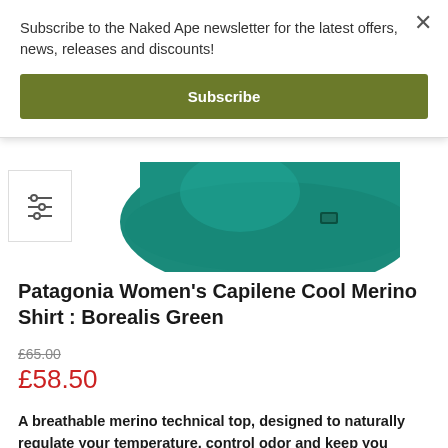Subscribe to the Naked Ape newsletter for the latest offers, news, releases and discounts!
Subscribe
[Figure (photo): Bottom portion of a teal/green Patagonia Women's Capilene Cool Merino Shirt visible at top of product page, partially obscured by newsletter popup overlay. A filter/sort icon is visible on the left side.]
Patagonia Women's Capilene Cool Merino Shirt : Borealis Green
£65.00
£58.50
A breathable merino technical top, designed to naturally regulate your temperature, control odor and keep you comfortable when you're working hard in the widest range